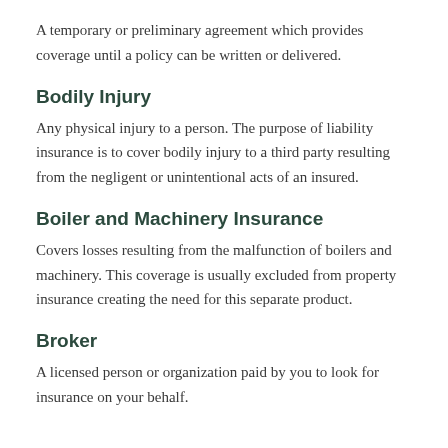A temporary or preliminary agreement which provides coverage until a policy can be written or delivered.
Bodily Injury
Any physical injury to a person. The purpose of liability insurance is to cover bodily injury to a third party resulting from the negligent or unintentional acts of an insured.
Boiler and Machinery Insurance
Covers losses resulting from the malfunction of boilers and machinery. This coverage is usually excluded from property insurance creating the need for this separate product.
Broker
A licensed person or organization paid by you to look for insurance on your behalf.